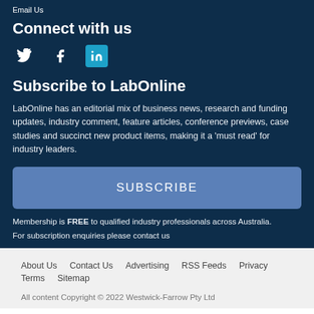Email Us
Connect with us
[Figure (infographic): Social media icons: Twitter (bird), Facebook (f), LinkedIn (in) with teal background]
Subscribe to LabOnline
LabOnline has an editorial mix of business news, research and funding updates, industry comment, feature articles, conference previews, case studies and succinct new product items, making it a 'must read' for industry leaders.
SUBSCRIBE
Membership is FREE to qualified industry professionals across Australia.
For subscription enquiries please contact us
About Us   Contact Us   Advertising   RSS Feeds   Privacy   Terms   Sitemap
All content Copyright © 2022 Westwick-Farrow Pty Ltd